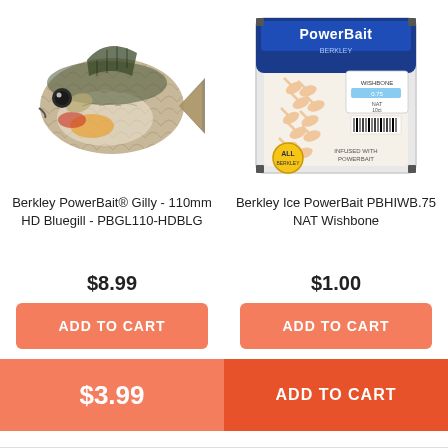[Figure (photo): Berkley PowerBait Gilly fish lure, realistic bluegill fish appearance]
[Figure (photo): Berkley Ice PowerBait PBHIWB.75 NAT Wishbone package with multiple small soft baits]
Berkley PowerBait® Gilly - 110mm HD Bluegill - PBGL110-HDBLG
Berkley Ice PowerBait PBHIWB.75 NAT Wishbone
$8.99
$1.00
ADD TO CART
ADD TO CART
$3.99
ADD TO CART